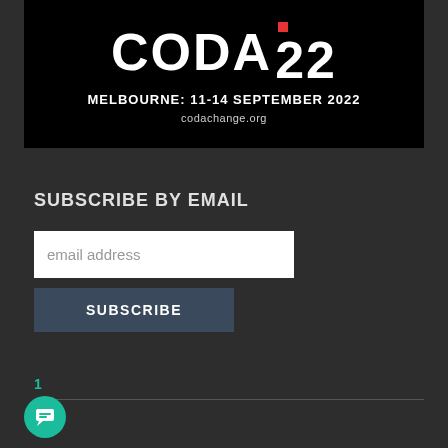[Figure (logo): CODA 22 event banner on black background with text MELBOURNE: 11-14 SEPTEMBER 2022 and codachange.org]
SUBSCRIBE BY EMAIL
email address
SUBSCRIBE
1